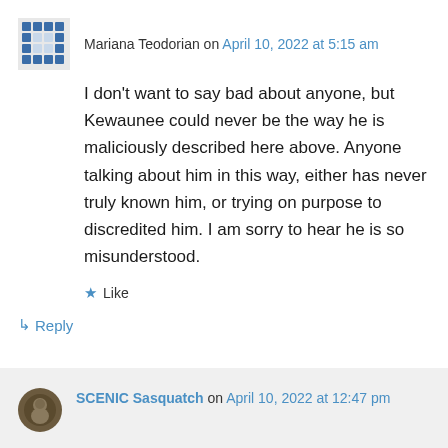Mariana Teodorian on April 10, 2022 at 5:15 am
I don't want to say bad about anyone, but Kewaunee could never be the way he is maliciously described here above. Anyone talking about him in this way, either has never truly known him, or trying on purpose to discredited him. I am sorry to hear he is so misunderstood.
★ Like
↳ Reply
SCENIC Sasquatch on April 10, 2022 at 12:47 pm